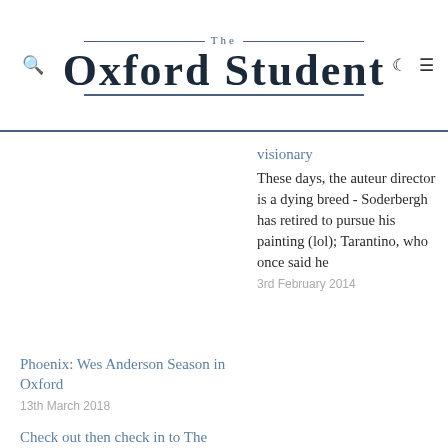The Oxford Student
visionary
These days, the auteur director is a dying breed - Soderbergh has retired to pursue his painting (lol); Tarantino, who once said he
3rd February 2014
Phoenix: Wes Anderson Season in Oxford
13th March 2018
Check out then check in to The Grand Budapest Hotel
Wes Anderson films share a particular and peculiar flavour. Though subjects range from deep-sea divers to inept thieves, the films have a
17th March 2014